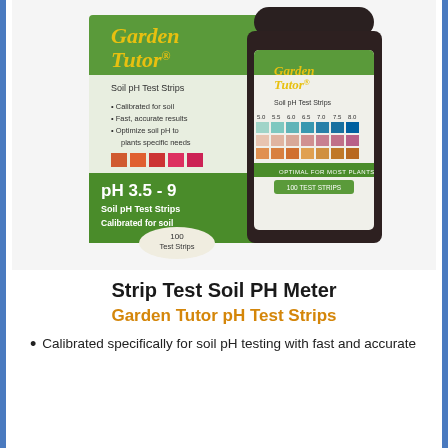[Figure (photo): Garden Tutor Soil pH Test Strips product box and bottle. Box shows 'Garden Tutor Soil pH Test Strips', calibrated for soil, fast accurate results, optimize soil pH to plants specific needs, pH 3.5-9, 100 Test Strips. Bottle shows color chart with pH values 5.0 5.5 6.0 6.5 7.0 7.5 8.0, OPTIMAL FOR MOST PLANTS, 100 TEST STRIPS.]
Strip Test Soil PH Meter
Garden Tutor pH Test Strips
Calibrated specifically for soil pH testing with fast and accurate